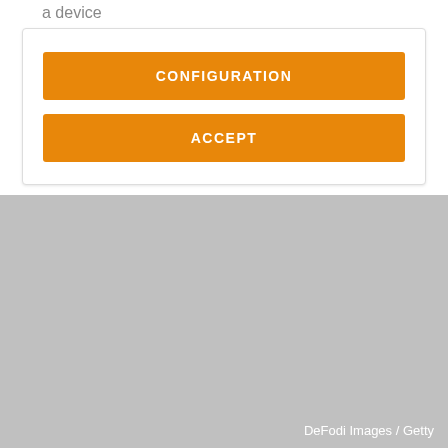a device
[Figure (screenshot): Mobile app UI card with two orange buttons labeled CONFIGURATION and ACCEPT]
[Figure (photo): Gray placeholder image area with DeFodi Images / Getty credit]
DeFodi Images / Getty